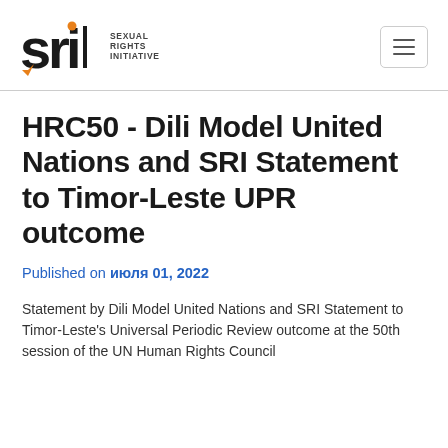SRI Sexual Rights Initiative
HRC50 - Dili Model United Nations and SRI Statement to Timor-Leste UPR outcome
Published on июля 01, 2022
Statement by Dili Model United Nations and SRI Statement to Timor-Leste's Universal Periodic Review outcome at the 50th session of the UN Human Rights Council